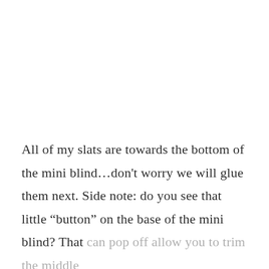All of my slats are towards the bottom of the mini blind…don’t worry we will glue them next. Side note: do you see that little “button” on the base of the mini blind? That can pop off allow you to trim the middle